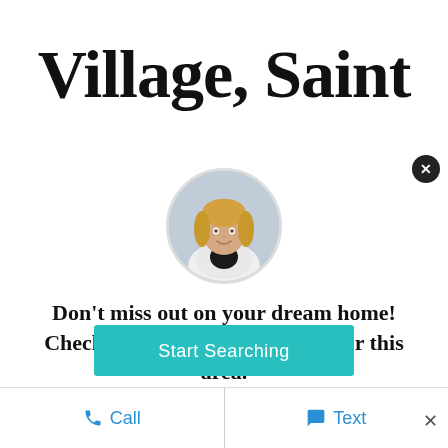Village, Saint
[Figure (photo): Circular headshot of a blond woman in a white blazer, real estate agent photo]
Don't miss out on your dream home! Check out all the latest listings for this area.
If you're seriously looking to buy in the area, you will want to check out these properties!
Start Searching
Call   Text